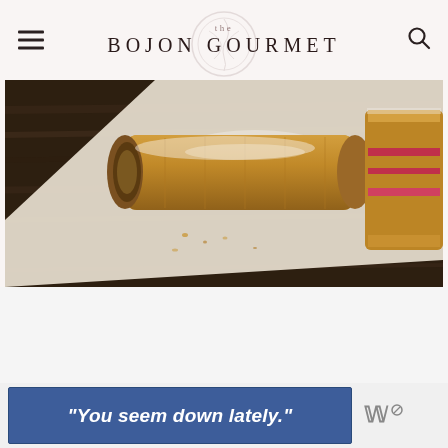the BOJON GOURMET
[Figure (photo): Close-up food photography of pastries on parchment paper over a dark wooden surface. Shows rolled and sliced pastries dusted with powdered sugar, with one showing a pink/raspberry filling.]
[Figure (infographic): Advertisement banner with blue background reading: "You seem down lately." with a small logo to the right]